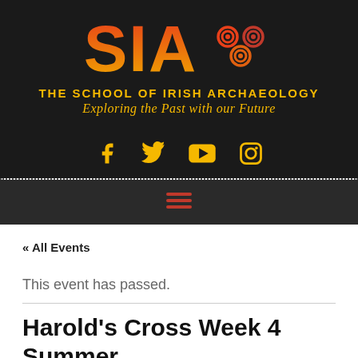[Figure (logo): SIA - The School of Irish Archaeology logo with spiral Celtic symbols, gradient orange-red to gold text on dark background. Tagline: Exploring the Past with our Future]
[Figure (infographic): Social media icons: Facebook, Twitter, YouTube, Instagram in gold/yellow on dark background]
[Figure (infographic): Hamburger menu icon (three horizontal lines) in red/orange on dark grey navigation bar]
« All Events
This event has passed.
Harold's Cross Week 4 Summer